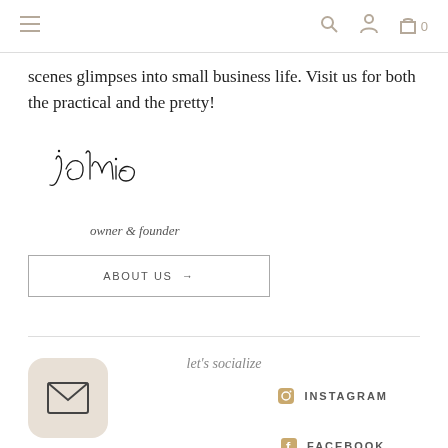Navigation bar with menu, search, account, and cart icons
scenes glimpses into small business life. Visit us for both the practical and the pretty!
[Figure (illustration): Handwritten cursive signature reading 'jalmie' with 'owner & founder' text below in italic]
ABOUT US →
let's socialize
INSTAGRAM
[Figure (illustration): Email envelope icon in a rounded square with beige/tan background]
FACEBOOK